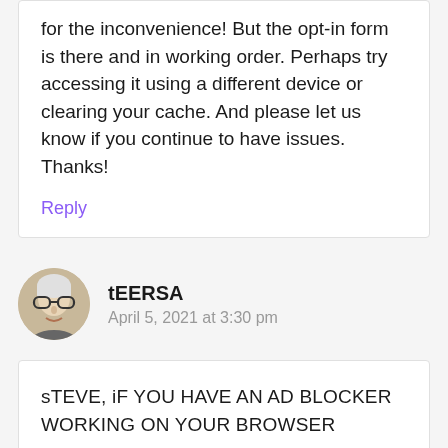for the inconvenience! But the opt-in form is there and in working order. Perhaps try accessing it using a different device or clearing your cache. And please let us know if you continue to have issues. Thanks!
Reply
tEERSA
April 5, 2021 at 3:30 pm
sTEVE, iF YOU HAVE AN AD BLOCKER WORKING ON YOUR BROWSER